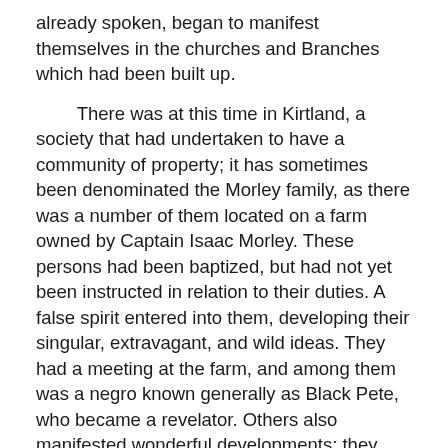already spoken, began to manifest themselves in the churches and Branches which had been built up.
There was at this time in Kirtland, a society that had undertaken to have a community of property; it has sometimes been denominated the Morley family, as there was a number of them located on a farm owned by Captain Isaac Morley. These persons had been baptized, but had not yet been instructed in relation to their duties. A false spirit entered into them, developing their singular, extravagant, and wild ideas. They had a meeting at the farm, and among them was a negro known generally as Black Pete, who became a revelator. Others also manifested wonderful developments; they could see angels, and letters would come down from heaven, they said, and they would be put through wonderful unnatural distortions. Finally on one occasion, Black Pete got sight of one of those revelations carried by a black angel, he started after it, and ran off a steep wash bank twenty-five feet high, passed through a tree top into the Chagrin River beneath. He came out with a few scratches, and his ardor somewhat cooled.
Joseph Smith came to Kirtland, and taught that people in relation to their error. He showed them that the Spirit of God did not hinder a man, but that sin cause and that the pureness of the